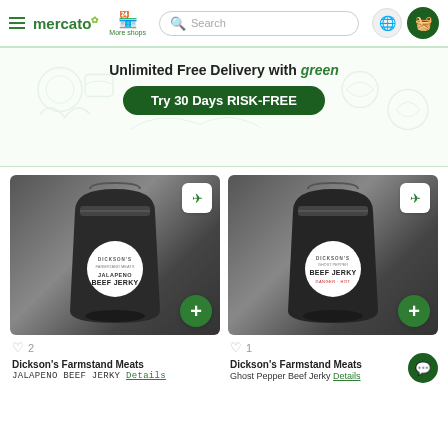mercato | More shops | Search | (globe icon) | (cart icon)
[Figure (screenshot): Mercato grocery delivery promotional banner with text 'Unlimited Free Delivery with green' and a green button 'Try 30 Days RISK-FREE'. Background has faint food illustrations.]
[Figure (photo): Product photo of Dickson's Farmstand Meats Jalapeno Beef Jerky in a dark resealable bag with a white circular label. Has a plane icon top-right and a green add button bottom-right.]
[Figure (photo): Product photo of Dickson's Farmstand Meats Ghost Pepper Beef Jerky in a dark resealable bag with a white circular label reading 'DANGER-HOT'. Has a plane icon top-right and a green add button bottom-right.]
♡ 2
♡ 1
Dickson's Farmstand Meats
JALAPENO BEEF JERKY Details
Dickson's Farmstand Meats
Ghost Pepper Beef Jerky Details